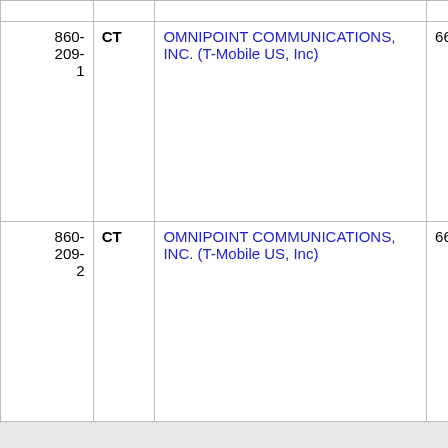| File Number | State | Licensee Name | Code | Extra |
| --- | --- | --- | --- | --- |
| 860-209-1 | CT | OMNIPOINT COMMUNICATIONS, INC. (T-Mobile US, Inc) | 6624 |  |
| 860-209-2 | CT | OMNIPOINT COMMUNICATIONS, INC. (T-Mobile US, Inc) | 6624 |  |